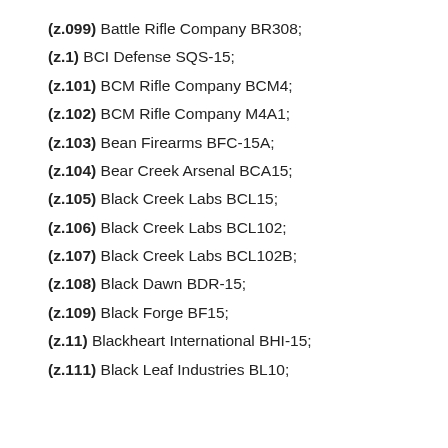(z.099) Battle Rifle Company BR308;
(z.1) BCI Defense SQS-15;
(z.101) BCM Rifle Company BCM4;
(z.102) BCM Rifle Company M4A1;
(z.103) Bean Firearms BFC-15A;
(z.104) Bear Creek Arsenal BCA15;
(z.105) Black Creek Labs BCL15;
(z.106) Black Creek Labs BCL102;
(z.107) Black Creek Labs BCL102B;
(z.108) Black Dawn BDR-15;
(z.109) Black Forge BF15;
(z.11) Blackheart International BHI-15;
(z.111) Black Leaf Industries BL10;